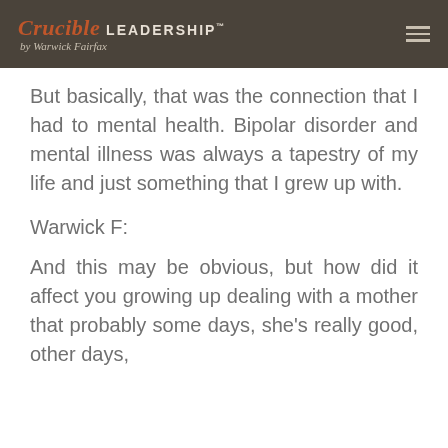Crucible LEADERSHIP™ by Warwick Fairfax
But basically, that was the connection that I had to mental health. Bipolar disorder and mental illness was always a tapestry of my life and just something that I grew up with.
Warwick F:
And this may be obvious, but how did it affect you growing up dealing with a mother that probably some days, she's really good, other days,